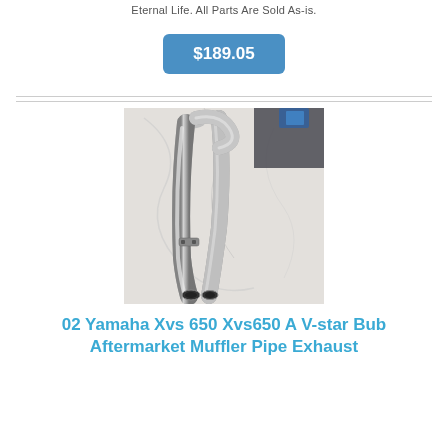Eternal Life. All Parts Are Sold As-is.
$189.05
[Figure (photo): Chrome exhaust pipes for a motorcycle, laid on a white marble or stone surface. Two bent chrome pipes visible, along with mounting brackets.]
02 Yamaha Xvs 650 Xvs650 A V-star Bub Aftermarket Muffler Pipe Exhaust